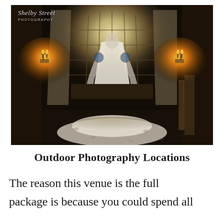[Figure (photo): Wedding photo of a bride in a white dress with a long veil standing with her back to the camera, facing large latticed windows in a grand dark hall with arched ceiling and two wall sconces glowing orange on either side. Watermark reads 'Shelby Street Photography' in top-left corner.]
Outdoor Photography Locations
The reason this venue is the full package is because you could spend all